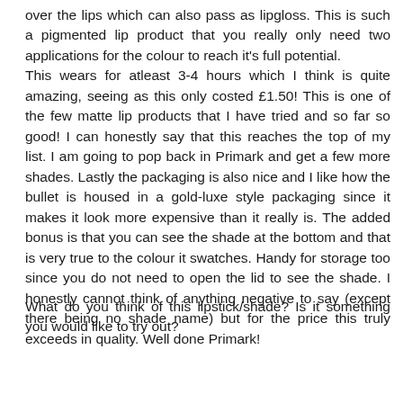over the lips which can also pass as lipgloss. This is such a pigmented lip product that you really only need two applications for the colour to reach it's full potential. This wears for atleast 3-4 hours which I think is quite amazing, seeing as this only costed £1.50! This is one of the few matte lip products that I have tried and so far so good! I can honestly say that this reaches the top of my list. I am going to pop back in Primark and get a few more shades. Lastly the packaging is also nice and I like how the bullet is housed in a gold-luxe style packaging since it makes it look more expensive than it really is. The added bonus is that you can see the shade at the bottom and that is very true to the colour it swatches. Handy for storage too since you do not need to open the lid to see the shade. I honestly cannot think of anything negative to say (except there being no shade name) but for the price this truly exceeds in quality. Well done Primark!
What do you think of this lipstick/shade? Is it something you would like to try out?